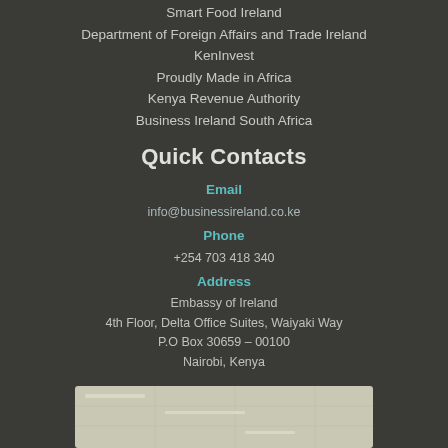Smart Food Ireland
Department of Foreign Affairs and Trade Ireland
KenInvest
Proudly Made in Africa
Kenya Revenue Authority
Business Ireland South Africa
Quick Contacts
Email
info@businessireland.co.ke
Phone
+254 703 418 340
Address
Embassy of Ireland
4th Floor, Delta Office Suites, Waiyaki Way
P.O Box 30659 – 00100
Nairobi, Kenya
[Figure (map): Map showing location of Embassy of Ireland in Nairobi, Kenya]